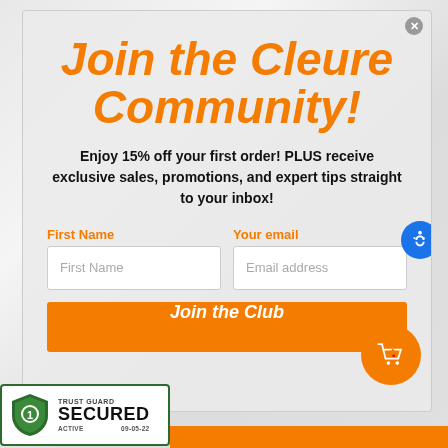Join the Cleure Community!
Enjoy 15% off your first order! PLUS receive exclusive sales, promotions, and expert tips straight to your inbox!
First Name
Your email
Join the Club